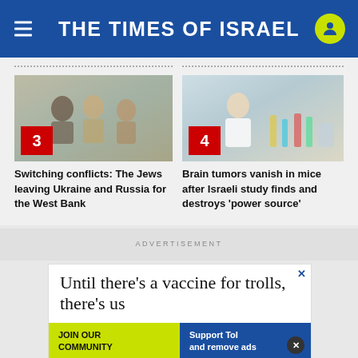THE TIMES OF ISRAEL
[Figure (photo): Group of people including a man, woman with sunglasses, and another woman outdoors near a stone wall]
Switching conflicts: The Jews leaving Ukraine and Russia for the West Bank
[Figure (photo): Man in white lab coat smiling in a laboratory with colorful equipment]
Brain tumors vanish in mice after Israeli study finds and destroys 'power source'
ADVERTISEMENT
[Figure (screenshot): Advertisement: Until there's a vaccine for trolls, there's us. Join Our Community | Support ToI and remove ads]